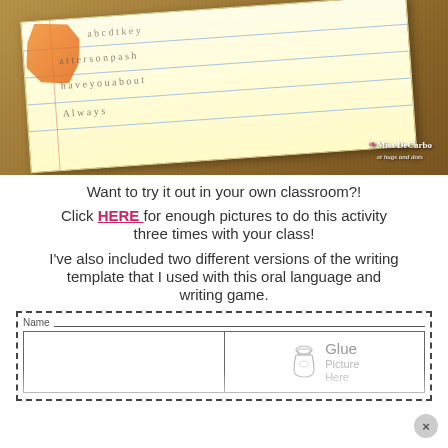[Figure (photo): A close-up photo of a child's handwritten paper on a wooden desk, with orange crayon drawing visible. A 'Miss DeCarbo et hugs and dots' logo is in the bottom right corner of the photo.]
Want to try it out in your own classroom?!
Click HERE for enough pictures to do this activity three times with your class!
I've also included two different versions of the writing template that I used with this oral language and writing game.
[Figure (screenshot): A partial worksheet with a dashed border, a Name line, and a two-column table. The right column shows a glue bottle icon with 'Glue Picture Here' text.]